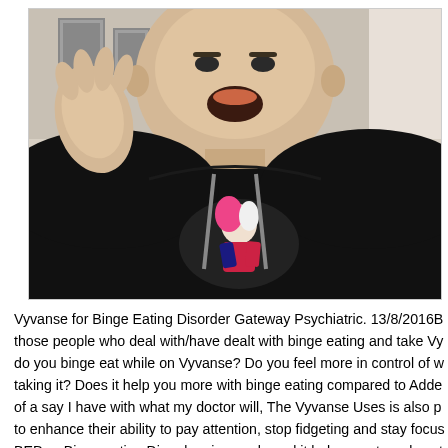[Figure (photo): Video screenshot of a person wearing a black hoodie with a graphic print on the chest, gesturing with their left hand raised. The person appears to be speaking. Background shows a room with framed pictures on the wall.]
Vyvanse for Binge Eating Disorder Gateway Psychiatric. 13/8/2016B those people who deal with/have dealt with binge eating and take Vy do you binge eat while on Vyvanse? Do you feel more in control of w taking it? Does it help you more with binge eating compared to Adde of a say I have with what my doctor will, The Vyvanse Uses is also p to enhance their ability to pay attention, stop fidgeting and stay focus BED or Binge eating Disorders in people and it helps you to reduce t days..